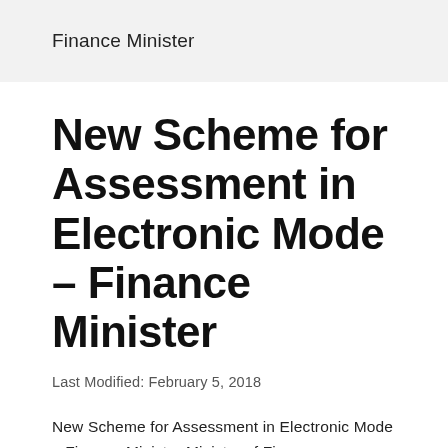Finance Minister
New Scheme for Assessment in Electronic Mode – Finance Minister
Last Modified: February 5, 2018
New Scheme for Assessment in Electronic Mode – Finance Minister Ministry of Finance Amendments in the income-tax act proposed to notify a new scheme for